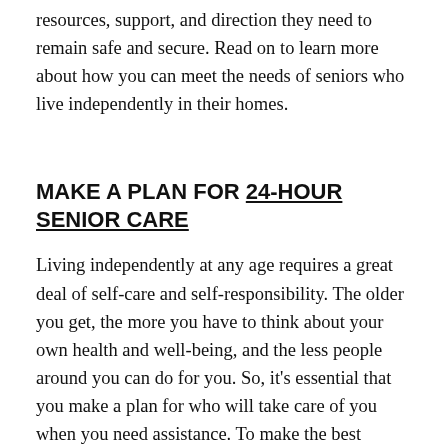resources, support, and direction they need to remain safe and secure. Read on to learn more about how you can meet the needs of seniors who live independently in their homes.
MAKE A PLAN FOR 24-HOUR SENIOR CARE
Living independently at any age requires a great deal of self-care and self-responsibility. The older you get, the more you have to think about your own health and well-being, and the less people around you can do for you. So, it's essential that you make a plan for who will take care of you when you need assistance. To make the best decision when it comes to the kind of help you'll need, start by thinking about the needs of your loved ones, your own needs, and your budget. Then, use these questions to help you make this important decision. –